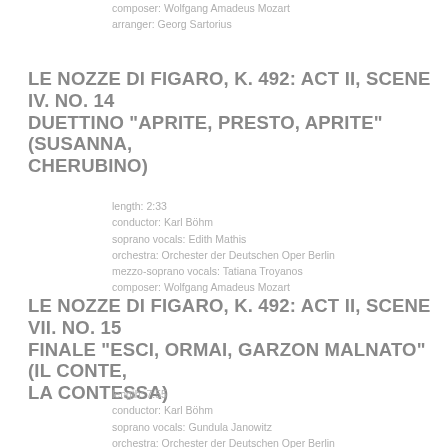composer: Wolfgang Amadeus Mozart
arranger: Georg Sartorius
LE NOZZE DI FIGARO, K. 492: ACT II, SCENE IV. NO. 14 DUETTINO "APRITE, PRESTO, APRITE" (SUSANNA, CHERUBINO)
length: 2:33
conductor: Karl Böhm
soprano vocals: Edith Mathis
orchestra: Orchester der Deutschen Oper Berlin
mezzo-soprano vocals: Tatiana Troyanos
composer: Wolfgang Amadeus Mozart
LE NOZZE DI FIGARO, K. 492: ACT II, SCENE VII. NO. 15 FINALE "ESCI, ORMAI, GARZON MALNATO" (IL CONTE, LA CONTESSA)
length: 7:55
conductor: Karl Böhm
soprano vocals: Gundula Janowitz
orchestra: Orchester der Deutschen Oper Berlin
baritone vocals: Dietrich Fischer-Dieskau
composer: Wolfgang Amadeus Mozart